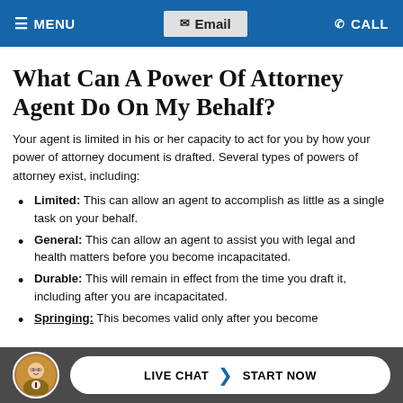MENU | Email | CALL
What Can A Power Of Attorney Agent Do On My Behalf?
Your agent is limited in his or her capacity to act for you by how your power of attorney document is drafted. Several types of powers of attorney exist, including:
Limited: This can allow an agent to accomplish as little as a single task on your behalf.
General: This can allow an agent to assist you with legal and health matters before you become incapacitated.
Durable: This will remain in effect from the time you draft it, including after you are incapacitated.
Springing: This becomes valid only after you become